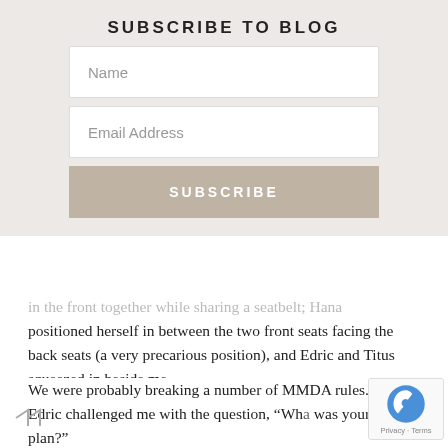SUBSCRIBE TO BLOG
[Figure (screenshot): Subscribe form with Name field, Email Address field, and SUBSCRIBE button on a light grey background]
in the front together while sharing a seatbelt; Hana positioned herself in between the two front seats facing the back seats (a very precarious position), and Edric and Titus squeezed in beside me.
We were probably breaking a number of MMDA rules. Edric challenged me with the question, "Wha was your plan?"